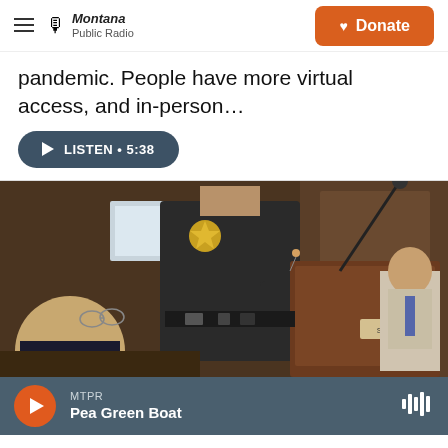Montana Public Radio | Donate
pandemic. People have more virtual access, and in-person…
LISTEN • 5:38
[Figure (photo): A law enforcement officer in a dark uniform with a sheriff badge stands at a wooden podium with a microphone, presumably at a government hearing. A man in a suit is seated nearby, and another person in a suit is visible in the background.]
MTPR | Pea Green Boat